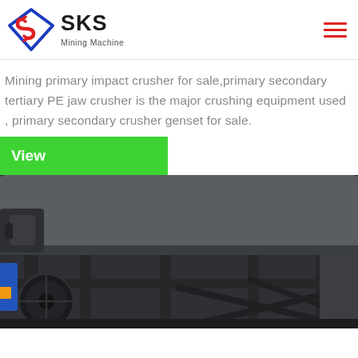SKS Mining Machine
Mining primary impact crusher for sale,primary secondary tertiary PE jaw crusher is the major crushing equipment used , primary secondary crusher genset for sale.
View
[Figure (photo): Close-up photograph of a large industrial mining crusher machine, showing dark grey metal housing, heavy mechanical components including pulleys and structural steel frame.]